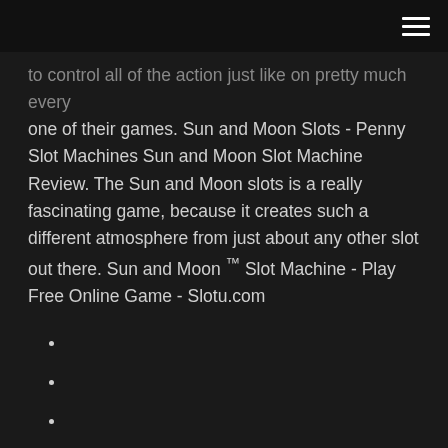[hamburger menu icon]
to control all of the action just like on pretty much every one of their games. Sun and Moon Slots - Penny Slot Machines Sun and Moon Slot Machine Review. The Sun and Moon slots is a really fascinating game, because it creates such a different atmosphere from just about any other slot out there. Sun and Moon ™ Slot Machine - Play Free Online Game - Slotu.com